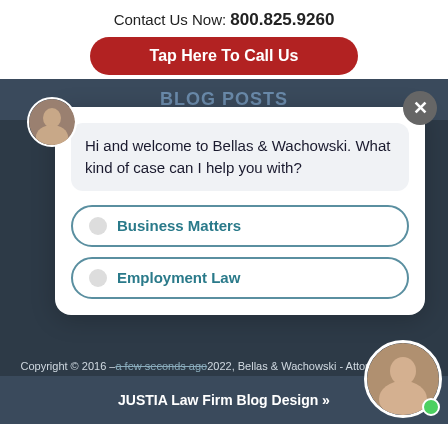Contact Us Now: 800.825.9260
Tap Here To Call Us
BLOG POSTS
This site is protected by. Privacy
Please do not include any confidential or sensitive information in a contact form, text message, or information by. Submitting a contact form, phone call, or leaving a voicemail
[Figure (screenshot): Chat widget overlay showing 'Hi and welcome to Bellas & Wachowski. What kind of case can I help you with?' with options 'Business Matters' and 'Employment Law']
Copyright © 2016 – 2022, Bellas & Wachowski - Attorneys at Law
JUSTIA Law Firm Blog Design »